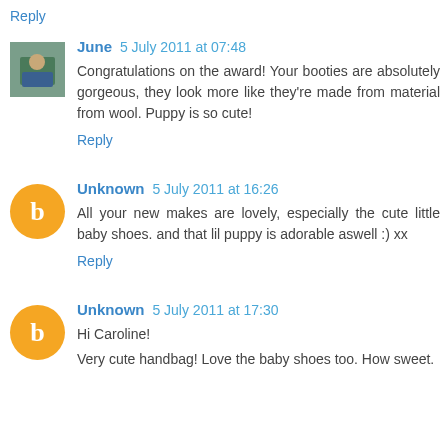Reply
June 5 July 2011 at 07:48
Congratulations on the award! Your booties are absolutely gorgeous, they look more like they're made from material from wool. Puppy is so cute!
Reply
Unknown 5 July 2011 at 16:26
All your new makes are lovely, especially the cute little baby shoes. and that lil puppy is adorable aswell :) xx
Reply
Unknown 5 July 2011 at 17:30
Hi Caroline!
Very cute handbag! Love the baby shoes too. How sweet.